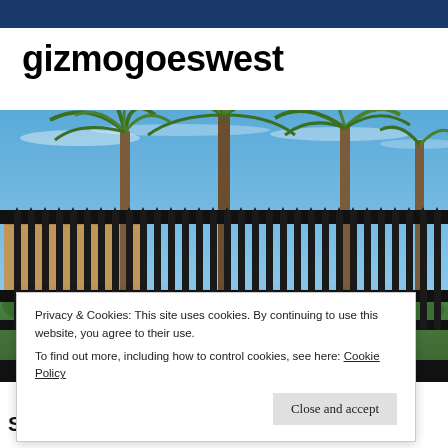gizmogoeswest
[Figure (photo): Outdoor photo showing tall palm trees behind a dark ornamental iron fence with spear-tip finials. A tan/beige building is visible behind the fence on the left. Blue sky with wispy clouds in the background. Green shrubs and grass visible at the base of the fence.]
Privacy & Cookies: This site uses cookies. By continuing to use this website, you agree to their use.
To find out more, including how to control cookies, see here: Cookie Policy
Close and accept
Spending the Winter as a Runian